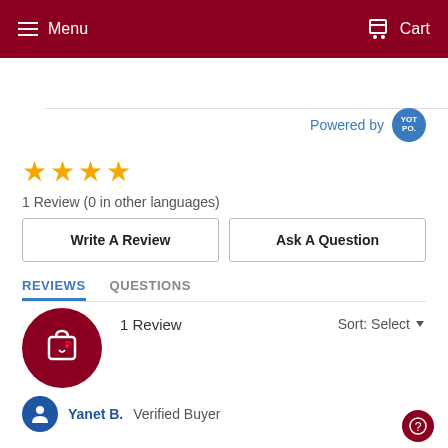Menu  Cart
Powered by YOTPO
[Figure (other): 4 yellow star rating icons]
1 Review (0 in other languages)
Write A Review
Ask A Question
REVIEWS   QUESTIONS
1 Review  Sort: Select
Yanet B. Verified Buyer